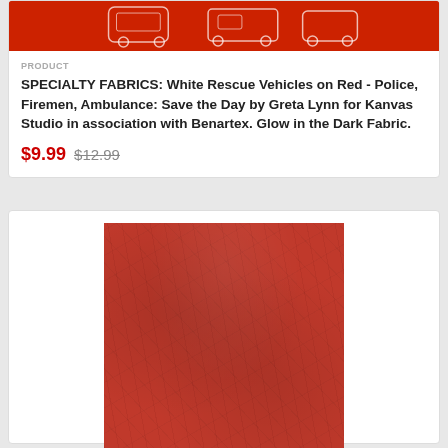[Figure (photo): Red fabric with white rescue vehicle outlines (police, fire, ambulance) - product image cropped at top]
PRODUCT
SPECIALTY FABRICS: White Rescue Vehicles on Red - Police, Firemen, Ambulance: Save the Day by Greta Lynn for Kanvas Studio in association with Benartex. Glow in the Dark Fabric.
$9.99  $12.99
[Figure (photo): Red grunge texture fabric swatch with ruler at bottom showing measurements, Moda branding]